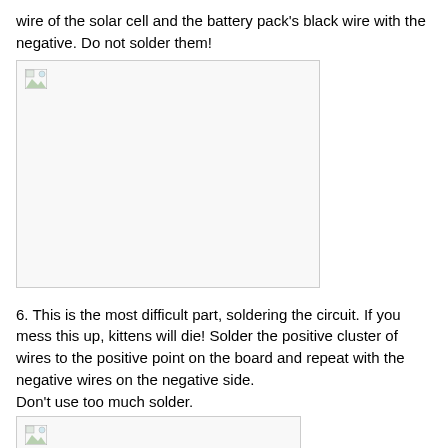wire of the solar cell and the battery pack's black wire with the negative. Do not solder them!
[Figure (photo): Photograph showing wiring of solar cell and battery pack connections]
6. This is the most difficult part, soldering the circuit. If you mess this up, kittens will die! Solder the positive cluster of wires to the positive point on the board and repeat with the negative wires on the negative side.
Don't use too much solder.
[Figure (photo): Photograph showing soldering of circuit board]